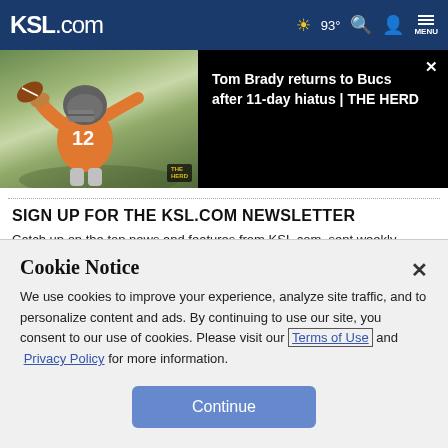KSL.com  ☀ 93°  🔍  👤  MENU
[Figure (screenshot): Video thumbnail showing a football player in orange jersey number 12 with a helmet throwing a football, with 'THE HERD' badge in lower right corner, and a black panel showing the title 'Tom Brady returns to Bucs after 11-day hiatus | THE HERD' with an X close button.]
SIGN UP FOR THE KSL.COM NEWSLETTER
Catch up on the top news and features from KSL.com, sent weekly.
Cookie Notice
We use cookies to improve your experience, analyze site traffic, and to personalize content and ads. By continuing to use our site, you consent to our use of cookies. Please visit our Terms of Use and  Privacy Policy for more information.
Continue